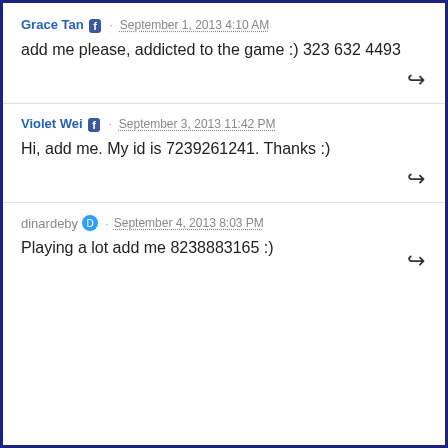Grace Tan · September 1, 2013 4:10 AM
add me please, addicted to the game :) 323 632 4493
Violet Wei · September 3, 2013 11:42 PM
Hi, add me. My id is 7239261241. Thanks :)
dinardeby · September 4, 2013 8:03 PM
Playing a lot add me 8238883165 :)